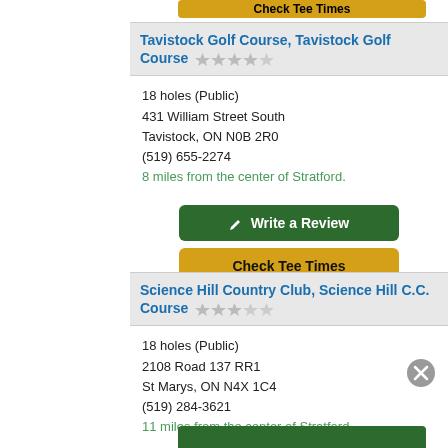[Figure (screenshot): Partial yellow 'Check Tee Times' button at top of page]
Tavistock Golf Course, Tavistock Golf Course
18 holes (Public)
431 William Street South
Tavistock, ON N0B 2R0
(519) 655-2274
8 miles from the center of Stratford.
[Figure (other): Green 'Write a Review' button with pencil icon]
[Figure (other): Yellow 'Check Tee Times' button]
Science Hill Country Club, Science Hill C.C. Course
18 holes (Public)
2108 Road 137 RR1
St Marys, ON N4X 1C4
(519) 284-3621
11 miles from the center of Stratford.
[Figure (other): Close/X circle button overlay]
[Figure (other): Partial green 'Write a Review' button at bottom]